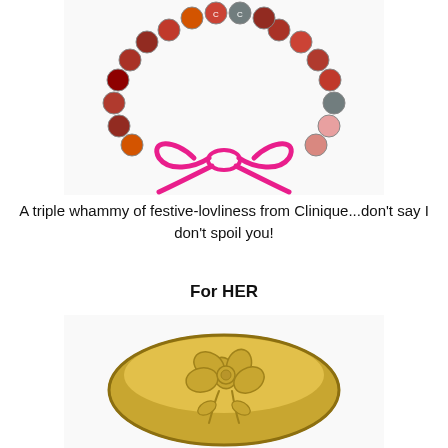[Figure (photo): Arrangement of lipstick bullets forming a wreath/heart shape with a hot pink lipstick-drawn bow at the bottom — Clinique holiday product promotional image]
A triple whammy of festive-lovliness from Clinique...don't say I don't spoil you!
For HER
[Figure (photo): Gold circular compact case with embossed floral design — holiday gift product image]